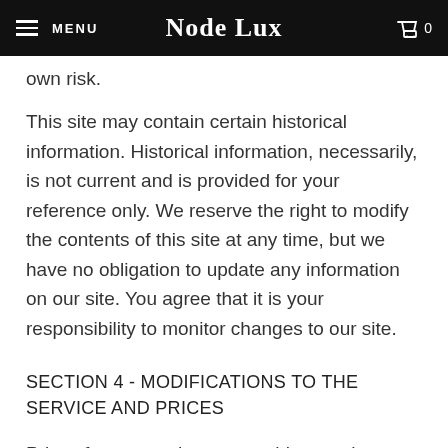MENU | Node Lux | 0
own risk.
This site may contain certain historical information. Historical information, necessarily, is not current and is provided for your reference only. We reserve the right to modify the contents of this site at any time, but we have no obligation to update any information on our site. You agree that it is your responsibility to monitor changes to our site.
SECTION 4 - MODIFICATIONS TO THE SERVICE AND PRICES
Prices for our products are subject to change without notice.